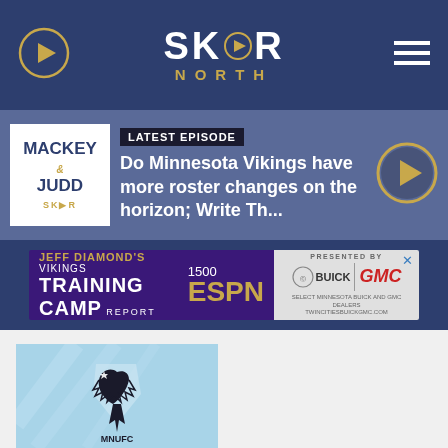[Figure (logo): SKOR North website header with play icon on left, SKOR NORTH logo in center, hamburger menu on right, dark blue background]
[Figure (screenshot): Mackey and Judd podcast thumbnail - white square with MACKEY & JUDD text and SKOR logo]
LATEST EPISODE
Do Minnesota Vikings have more roster changes on the horizon; Write Th...
[Figure (infographic): Jeff Diamond's Vikings Training Camp Report advertisement for 1500 ESPN, presented by Buick GMC]
[Figure (photo): Minnesota United FC (MNUFC) logo on light blue background with diagonal stripe design]